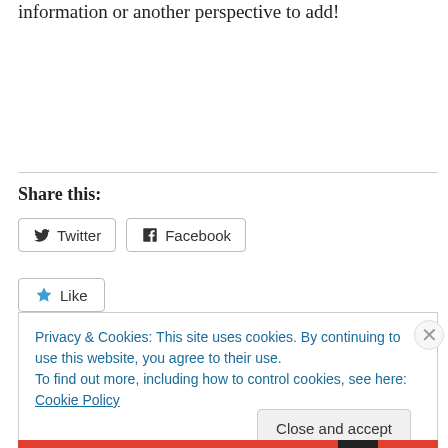information or another perspective to add!
Share this:
[Figure (other): Twitter and Facebook share buttons with icons]
[Figure (other): Like button with blue star icon]
Privacy & Cookies: This site uses cookies. By continuing to use this website, you agree to their use.
To find out more, including how to control cookies, see here: Cookie Policy
Close and accept